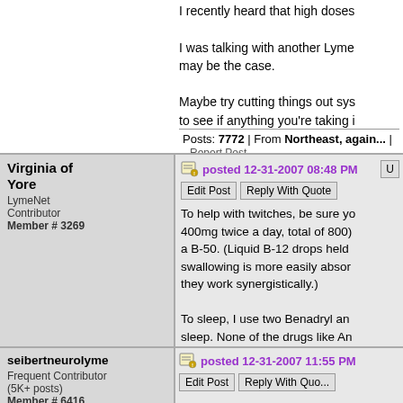I recently heard that high doses...
I was talking with another Lyme... may be the case.
Maybe try cutting things out sys... to see if anything you're taking i
Posts: 7772 | From Northeast, again... | Report Post
Virginia of Yore
LymeNet Contributor
Member # 3269
posted 12-31-2007 08:48 PM
Edit Post    Reply With Quote
To help with twitches, be sure yo... 400mg twice a day, total of 800)... a B-50. (Liquid B-12 drops held... swallowing is more easily absor... they work synergistically.)
To sleep, I use two Benadryl an... sleep. None of the drugs like An... waking every few hours with the...
Posts: 193 | From Virginia | Registered:
seibertneurolyme
Frequent Contributor
(5K+ posts)
Member # 6416
posted 12-31-2007 11:55 PM
Edit Post    Reply With Quo...